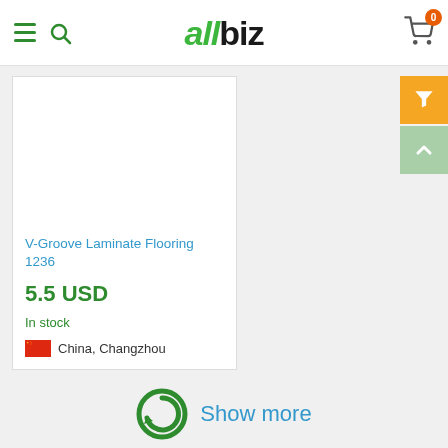[Figure (logo): allbiz logo with navigation icons (hamburger menu, search) and shopping cart with badge showing 0]
[Figure (photo): Product image area (white/empty) for V-Groove Laminate Flooring 1236]
V-Groove Laminate Flooring 1236
5.5 USD
In stock
China, Changzhou
[Figure (illustration): Show more button with circular arrow icon]
Show more
1  2  3  4  5  ...  9